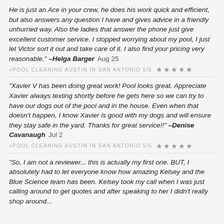He is just an Ace in your crew, he does his work quick and efficient, but also answers any question I have and gives advice in a friendly unhurried way. Also the ladies that answer the phone just give excellent customer service. I stopped worrying about my pool, I just let Victor sort it out and take care of it. I also find your pricing very reasonable." –Helga Barger  Aug 25
»POOL CLEANING AUSTIN IN SAN ANTONIO 5/5 ★★★★★
"Xavier V has been doing great work! Pool looks great. Appreciate Xavier always texting shortly before he gets here so we can try to have our dogs out of the pool and in the house. Even when that doesn't happen, I know Xavier is good with my dogs and will ensure they stay safe in the yard. Thanks for great service!!" –Denise Cavanaugh  Jul 2
»POOL CLEANING AUSTIN IN SAN ANTONIO 5/5 ★★★★★
"So, I am not a reviewer... this is actually my first one. BUT, I absolutely had to let everyone know how amazing Kelsey and the Blue Science team has been. Kelsey took my call when I was just calling around to get quotes and after speaking to her I didn't really shop around...